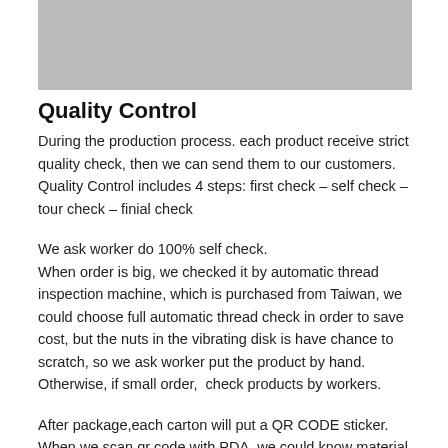[Figure (photo): Gray rectangular image placeholder at the top of the page]
Quality Control
During the production process. each product receive strict quality check, then we can send them to our customers. Quality Control includes 4 steps: first check – self check – tour check – finial check
We ask worker do 100% self check.
When order is big, we checked it by automatic thread inspection machine, which is purchased from Taiwan, we could choose full automatic thread check in order to save cost, but the nuts in the vibrating disk is have chance to scratch, so we ask worker put the product by hand. Otherwise, if small order,  check products by workers.
After package,each carton will put a QR CODE sticker. When we scan qr code with PDA, we could know material batch,production size, production process, which worker